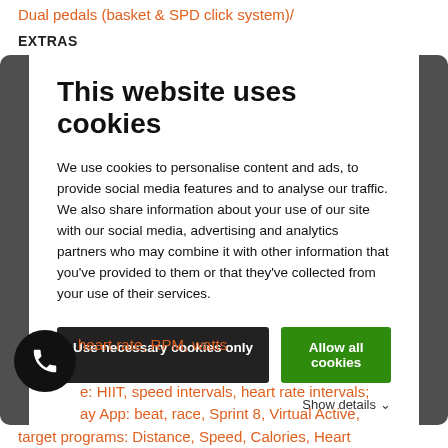Dual pedals (basket & SPD click system)/
EXTRAS
[Figure (screenshot): Cookie consent modal overlay on a website. Title: 'This website uses cookies'. Body text explaining cookie usage for personalisation, ads, social media and analytics. Two buttons: 'Use necessary cookies only' (black) and 'Allow all cookies' (green). A 'Show details' link with chevron at the bottom right.]
calories, heart rate, RPM, watts
PROGRAMS
e: HIIT, speed intervals, heart rate intervals;
ay App: beat, race, Sprint 8, Virtual Active,
target programs: Distance, Speed, Calories, Heart